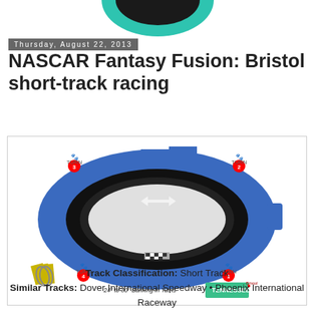[Figure (illustration): Partial NASCAR Fantasy Fusion logo/graphic at top, teal and dark colored, partially cropped]
Thursday, August 22, 2013
NASCAR Fantasy Fusion: Bristol short-track racing
[Figure (schematic): Bristol Motor Speedway track diagram showing oval track shape in blue with banking angles marked as 24° to 30° Banking in Turns, four turns labeled with paw print icons (Turn 1, 2, 3, 4), Tennessee state map inset with Bristol marked, and tire stack illustration]
Track Classification: Short Track
Similar Tracks: Dover International Speedway • Phoenix International Raceway